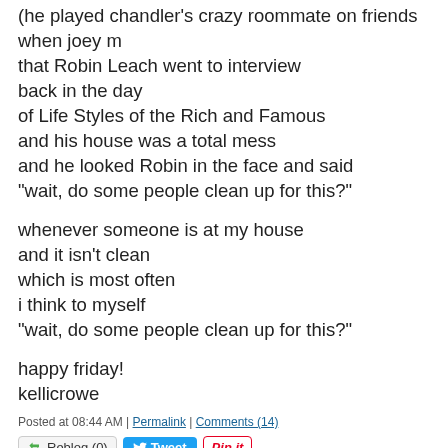(he played chandler's crazy roommate on friends when joey m
that Robin Leach went to interview
back in the day
of Life Styles of the Rich and Famous
and his house was a total mess
and he looked Robin in the face and said
"wait, do some people clean up for this?"
whenever someone is at my house
and it isn't clean
which is most often
i think to myself
"wait, do some people clean up for this?"
happy friday!
kellicrowe
Posted at 08:44 AM | Permalink | Comments (14)
May 15, 2007